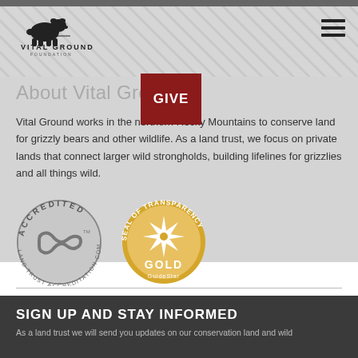[Figure (logo): Vital Ground Foundation logo with bear silhouette]
About Vital Ground
Vital Ground works in the northern Rocky Mountains to conserve land for grizzly bears and other wildlife. As a land trust, we focus on private lands that connect larger wild strongholds, building lifelines for grizzlies and all things wild.
[Figure (illustration): Accredited Land Trust Accreditation Commission badge - circular gray badge with infinity symbol]
[Figure (illustration): Seal of Transparency Gold GuideStar badge - circular gold badge with compass star]
Our Team
Financials
Privacy
Board Web
Sitemap
SIGN UP AND STAY INFORMED
As a land trust we will send you updates on our conservation land and wild